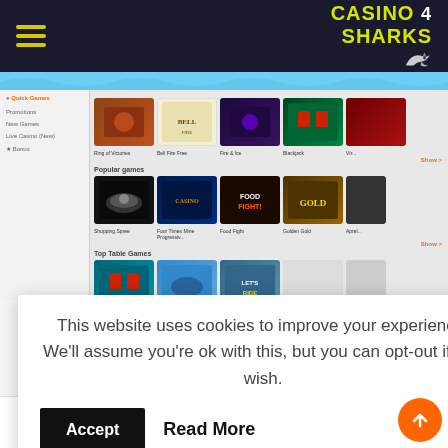Casino 4 Sharks
[Figure (screenshot): Casino website screenshot showing game grid with multiple rows of game cards including slots and table games, with left navigation sidebar]
This website uses cookies to improve your experience. We'll assume you're ok with this, but you can opt-out if you wish.
Accept   Read More
Read More